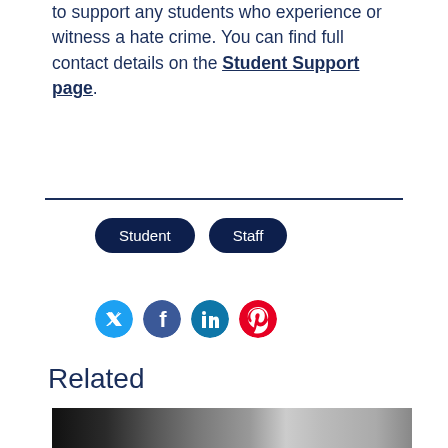Student Advice and Wellbeing Services are able to support any students who experience or witness a hate crime. You can find full contact details on the Student Support page.
Student
Staff
[Figure (other): Social media icons: Twitter (blue), Facebook (blue), LinkedIn (teal/blue), Pinterest (red)]
Related
[Figure (photo): Two young women using rowing machines in a gym, wearing dark clothing. Gym equipment visible in background.]